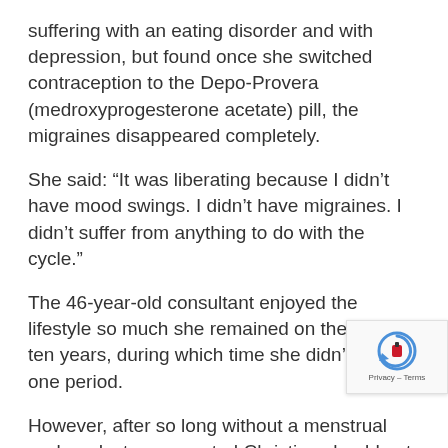suffering with an eating disorder and with depression, but found once she switched contraception to the Depo-Provera (medroxyprogesterone acetate) pill, the migraines disappeared completely.
She said: “It was liberating because I didn’t have mood swings. I didn’t have migraines. I didn’t suffer from anything to do with the cycle.”
The 46-year-old consultant enjoyed the lifestyle so much she remained on the pill for ten years, during which time she didn’t have one period.
However, after so long without a menstrual cycle a doctor suggested Christina should get tested for osteoporosis – which some scientists fear could be linked to prolonged use of hormonal contraceptives
Christina thinks the diagnosis was “definitely a direct result of being on the pill for so long,” but